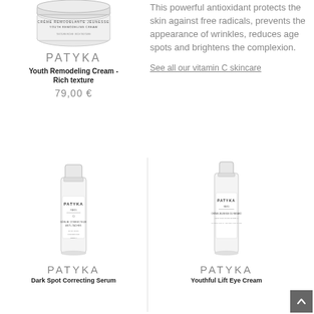[Figure (photo): PATYKA Youth Remodeling Cream - Rich texture product image, white oval cream jar]
PATYKA
Youth Remodeling Cream - Rich texture
79,00 €
This powerful antioxidant protects the skin against free radicals, prevents the appearance of wrinkles, reduces age spots and brightens the complexion.
See all our vitamin C skincare
[Figure (photo): PATYKA Dark Spot Correcting Serum bottle, tall white cylindrical bottle with black label]
PATYKA
PATYKA
[Figure (photo): PATYKA Youthful Lift Eye Cream bottle, small white cylindrical bottle with black label]